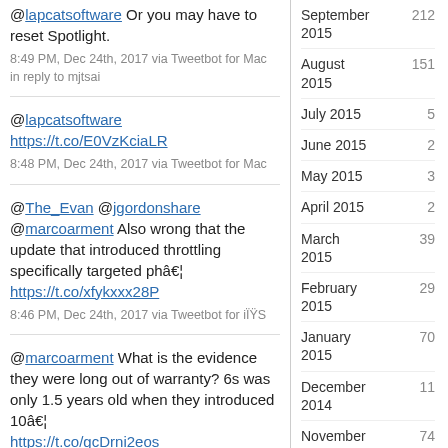@lapcatsoftware Or you may have to reset Spotlight. 8:49 PM, Dec 24th, 2017 via Tweetbot for Mac in reply to mjtsai
@lapcatsoftware https://t.co/E0VzKciaLR 8:48 PM, Dec 24th, 2017 via Tweetbot for Mac
@The_Evan @jgordonshare @marcoarment Also wrong that the update that introduced throttling specifically targeted phâ€¦ https://t.co/xfykxxx28P 8:46 PM, Dec 24th, 2017 via Tweetbot for iÏŸS
@marcoarment What is the evidence they were long out of warranty? 6s was only 1.5 years old when they introduced 10â€¦ https://t.co/gcDrni2eos 8:12 PM, Dec 24th, 2017 via Tweetbot for
September 2015  212
August 2015  151
July 2015  5
June 2015  2
May 2015  3
April 2015  2
March 2015  39
February 2015  29
January 2015  70
December 2014  11
November 2014  74
October 2014  128
September 2014